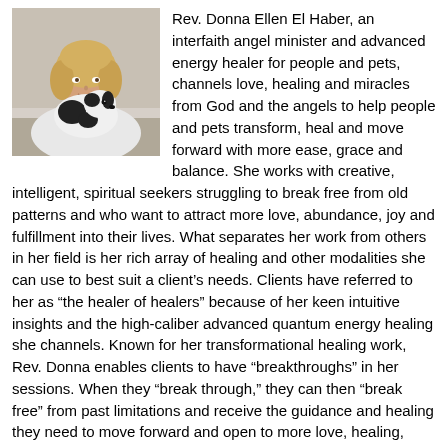[Figure (photo): Photo of Rev. Donna Ellen El Haber, a woman with blonde hair holding a black and white dog, shown from approximately the shoulders up.]
Rev. Donna Ellen El Haber, an interfaith angel minister and advanced energy healer for people and pets, channels love, healing and miracles from God and the angels to help people and pets transform, heal and move forward with more ease, grace and balance. She works with creative, intelligent, spiritual seekers struggling to break free from old patterns and who want to attract more love, abundance, joy and fulfillment into their lives. What separates her work from others in her field is her rich array of healing and other modalities she can use to best suit a client’s needs. Clients have referred to her as “the healer of healers” because of her keen intuitive insights and the high-caliber advanced quantum energy healing she channels. Known for her transformational healing work, Rev. Donna enables clients to have “breakthroughs” in her sessions. When they “break through,” they can then “break free” from past limitations and receive the guidance and healing they need to move forward and open to more love, healing, miracles and abundance. If you would like to have a free 30-minute get-acquainted phone session, you can schedule an appointment with Rev. Donna at www.meetme.so/donnaelhaber.